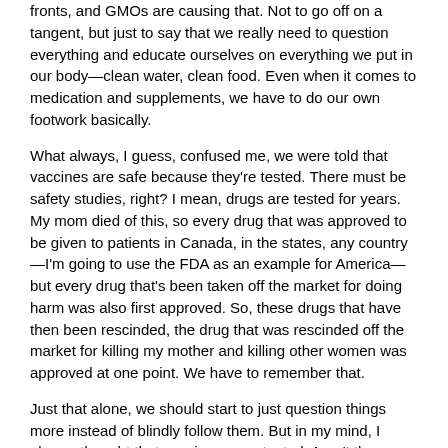fronts, and GMOs are causing that. Not to go off on a tangent, but just to say that we really need to question everything and educate ourselves on everything we put in our body—clean water, clean food. Even when it comes to medication and supplements, we have to do our own footwork basically.
What always, I guess, confused me, we were told that vaccines are safe because they're tested. There must be safety studies, right? I mean, drugs are tested for years. My mom died of this, so every drug that was approved to be given to patients in Canada, in the states, any country—I'm going to use the FDA as an example for America—but every drug that's been taken off the market for doing harm was also first approved. So, these drugs that have then been rescinded, the drug that was rescinded off the market for killing my mother and killing other women was approved at one point. We have to remember that.
Just that alone, we should start to just question things more instead of blindly follow them. But in my mind, I always thought that vaccines were tested. Aren't they safety tested for years like drugs are safety tested, and don't they do double-blind studies because that's their thing, right? Double-blind studies. And then I heard somewhere that vaccines are not safety tested with double-blind placebo studies. They don't do a placebo that's inert. Can you explain that?
What I mean is, you think they're injecting water or saline solution into someone's arm and they're the placebo trial, and then they're injecting the actual vaccine to the other person. But that's not the case. If they were to take